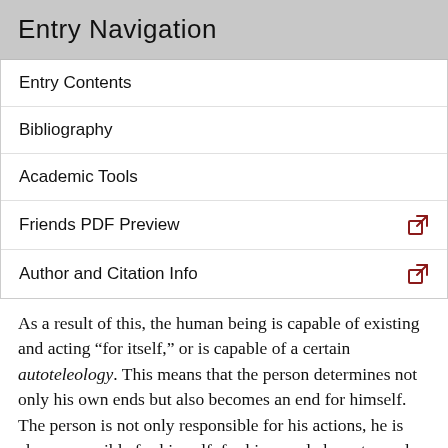Entry Navigation
Entry Contents
Bibliography
Academic Tools
Friends PDF Preview
Author and Citation Info
As a result of this, the human being is capable of existing and acting “for itself,” or is capable of a certain autoteleology. This means that the person determines not only his own ends but also becomes an end for himself. The person is not only responsible for his actions, he is also responsible for himself, for his moral character and identity. Freedom means that one is responsible for one’s choices but also for one’s self.
Freedom and self-determination also bear a close relation to another characteristic of the person’s spiritual nature: creativity. Freedom as a property of the person allows the